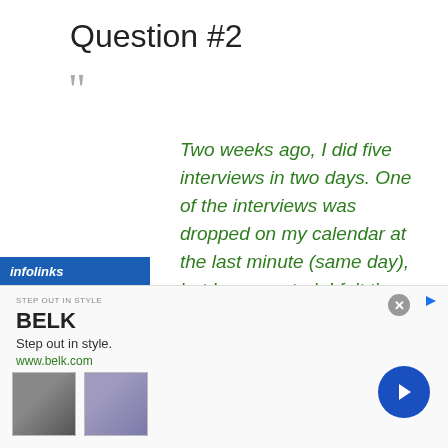Question #2
Two weeks ago, I did five interviews in two days. One of the interviews was dropped on my calendar at the last minute (same day), but I cooperated. I felt the interviews went well. I sent thank you notes to everyone. I did not hear anything back that week. I followed up the following week, heard nothing. Followed up last week, still nothing. They've gone completely ghost. Is
[Figure (screenshot): Infolinks advertisement banner for Belk retail, showing 'Step out in style. www.belk.com' with two product images and a blue next arrow button.]